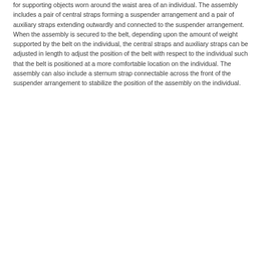for supporting objects worn around the waist area of an individual. The assembly includes a pair of central straps forming a suspender arrangement and a pair of auxiliary straps extending outwardly and connected to the suspender arrangement. When the assembly is secured to the belt, depending upon the amount of weight supported by the belt on the individual, the central straps and auxiliary straps can be adjusted in length to adjust the position of the belt with respect to the individual such that the belt is positioned at a more comfortable location on the individual. The assembly can also include a sternum strap connectable across the front of the suspender arrangement to stabilize the position of the assembly on the individual.